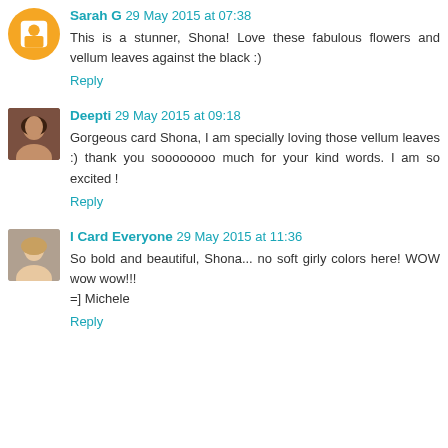Sarah G 29 May 2015 at 07:38
This is a stunner, Shona! Love these fabulous flowers and vellum leaves against the black :)
Reply
Deepti 29 May 2015 at 09:18
Gorgeous card Shona, I am specially loving those vellum leaves :) thank you soooooooo much for your kind words. I am so excited !
Reply
I Card Everyone 29 May 2015 at 11:36
So bold and beautiful, Shona... no soft girly colors here! WOW wow wow!!!
=] Michele
Reply